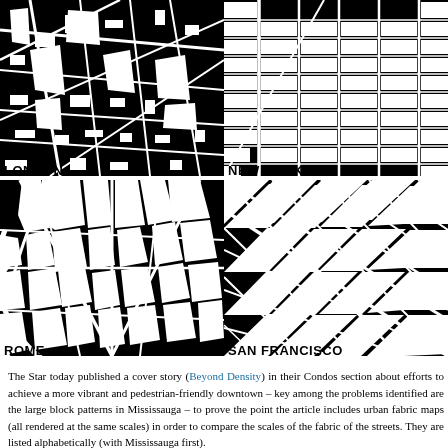[Figure (map): Black and white aerial/plan view map of central London showing irregular street patterns and city blocks]
LONDON
[Figure (map): Black and white aerial/plan view map of New York showing regular grid street pattern with long rectangular blocks]
NEW YORK
[Figure (map): Black and white aerial/plan view map of Rome showing organic street patterns with curved roads and irregular blocks]
ROME
[Figure (map): Black and white aerial/plan view map of San Francisco showing diagonal and grid street patterns with square blocks]
SAN FRANCISCO
The Star today published a cover story (Beyond Density) in their Condos section about efforts to achieve a more vibrant and pedestrian-friendly downtown – key among the problems identified are the large block patterns in Mississauga – to prove the point the article includes urban fabric maps (all rendered at the same scales) in order to compare the scales of the fabric of the streets. They are listed alphabetically (with Mississauga first).